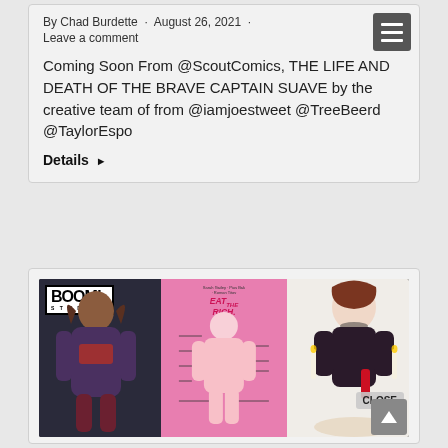By Chad Burdette · August 26, 2021 · Leave a comment
Coming Soon From @ScoutComics, THE LIFE AND DEATH OF THE BRAVE CAPTAIN SUAVE by the creative team of from @iamjoestweet @TreeBeerd @TaylorEspo
Details ▶
[Figure (illustration): Advertisement image showing BOOM! Studios comic covers: a dark fantasy character on the left, 'Eat the Rich' pink-themed comics in the middle, and a woman at a dinner table on the right. A CLOSE button is overlaid in the lower-right area of the image.]